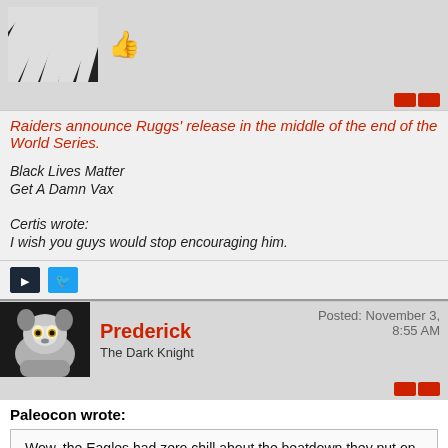[Figure (illustration): Avatar image - black and white striped pattern with thumbs up emoji icon]
Raiders announce Ruggs' release in the middle of the end of the World Series.
Black Lives Matter
Get A Damn Vax
Certis wrote:
I wish you guys would stop encouraging him.
[Figure (illustration): Steam and Twitter social media icon buttons]
[Figure (photo): Lemur avatar photo for user Prederick]
Prederick
The Dark Knight
Posted: November 3, 8:55 AM
Paleocon wrote:
Wow, the Eagles had zero chill about the beatdown they put on the Lions.
I just assumed they'd notched a W somewhere in there. I had no idea they were 0-fer.
James Baldwin wrote: